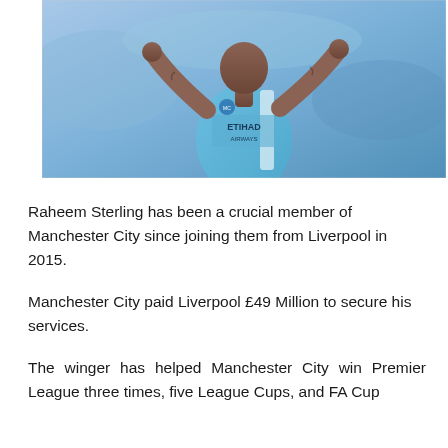[Figure (photo): Raheem Sterling in a light blue Manchester City jersey with Etihad Airways sponsor, arms outstretched, running on the pitch.]
Raheem Sterling has been a crucial member of Manchester City since joining them from Liverpool in 2015.
Manchester City paid Liverpool £49 Million to secure his services.
The winger has helped Manchester City win Premier League three times, five League Cups, and FA Cup